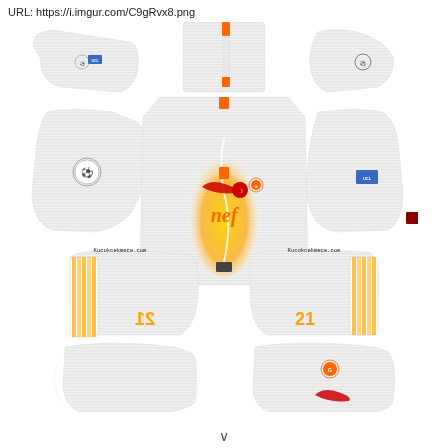URL: https://i.imgur.com/C9gRvx8.png
[Figure (illustration): Dream League Soccer kit template for Galatasaray white away kit. Shows a flat lay of football kit parts: left and right sleeves (top row), front jersey body (center with orange/yellow flame design, nef sponsor text, Nike swoosh, Turkish flag badge, Galatasaray crest), back jersey, left and right side panels, shorts (two pairs at bottom with Kucukcekmece.com text), and socks. All pieces are white with orange/gold accents. UEFA Champions League and Galatasaray logos visible on various pieces.]
v